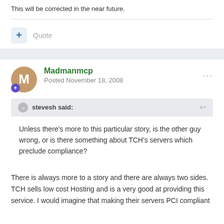This will be corrected in the near future.
Quote
Madmanmcp
Posted November 18, 2008
stevesh said:
Unless there's more to this particular story, is the other guy wrong, or is there something about TCH's servers which preclude compliance?
There is always more to a story and there are always two sides. TCH sells low cost Hosting and is a very good at providing this service. I would imagine that making their servers PCI compliant